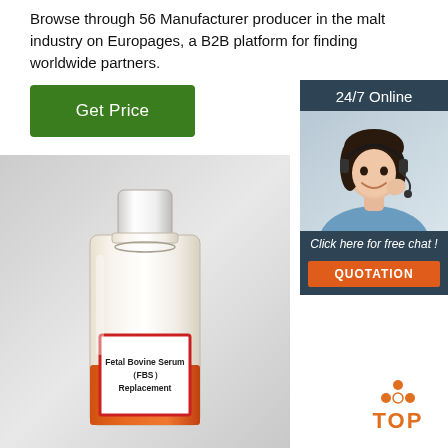Browse through 56 Manufacturer producer in the malt industry on Europages, a B2B platform for finding worldwide partners.
[Figure (other): Green 'Get Price' button]
[Figure (other): Sidebar with 24/7 Online support agent photo, 'Click here for free chat!' text, and orange QUOTATION button]
[Figure (photo): Photo of a laboratory bottle containing orange liquid labeled 'Fetal Bovine Serum (FBS) Replacement']
[Figure (logo): TOP logo with orange dot pattern above text]